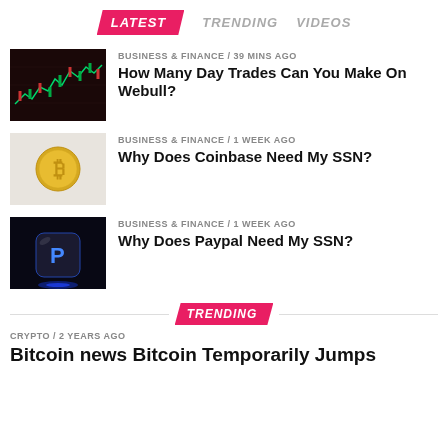LATEST | TRENDING | VIDEOS
[Figure (photo): Stock market chart on screen with red and green candlestick chart]
BUSINESS & FINANCE / 39 mins ago
How Many Day Trades Can You Make On Webull?
[Figure (photo): Bitcoin gold coin on light surface]
BUSINESS & FINANCE / 1 week ago
Why Does Coinbase Need My SSN?
[Figure (photo): PayPal dark cube logo on dark blue background with glowing light]
BUSINESS & FINANCE / 1 week ago
Why Does Paypal Need My SSN?
TRENDING
CRYPTO / 2 years ago
Bitcoin news Bitcoin Temporarily Jumps